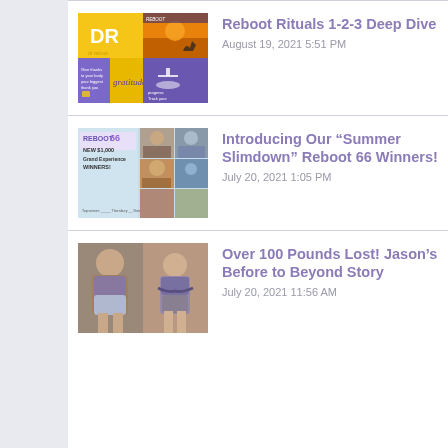[Figure (photo): Thumbnail image for Reboot Rituals 1-2-3 Deep Dive post, showing a collage with DR text, a silhouette runner at sunset, and purple/yellow motivational panels]
Reboot Rituals 1-2-3 Deep Dive
August 19, 2021 5:51 PM
[Figure (photo): Thumbnail image for Reboot 66 Summer Slimdown Winners showing collage of before/after photos with REBOOT 66 NEW $1,000 Grand Experience WINNERS text]
Introducing Our “Summer Slimdown” Reboot 66 Winners!
July 20, 2021 1:05 PM
[Figure (photo): Thumbnail image showing a man's before and after weight loss photos side by side]
Over 100 Pounds Lost! Jason’s Before to Beyond Story
July 20, 2021 11:56 AM